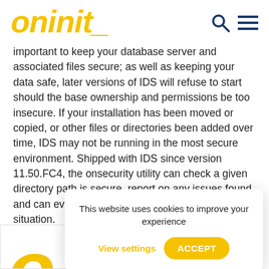oninit_
important to keep your database server and associated files secure; as well as keeping your data safe, later versions of IDS will refuse to start should the base ownership and permissions be too insecure. If your installation has been moved or copied, or other files or directories been added over time, IDS may not be running in the most secure environment. Shipped with IDS since version 11.50.FC4, the onsecurity utility can check a given directory path is secure, report on any issues found, and can even generate a script to remedy the situation.
[Read More...]
Related Tech
[Figure (logo): Large yellow stylized letter O from oninit logo]
This website uses cookies to improve your experience
View settings
ACCEPT